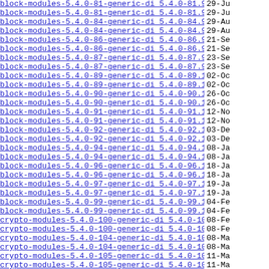block-modules-5.4.0-81-generic-di 5.4.0-81.91~1..> 29-Ju
block-modules-5.4.0-81-generic-di 5.4.0-81.91~1..> 29-Ju
block-modules-5.4.0-84-generic-di 5.4.0-84.94~1..> 29-Au
block-modules-5.4.0-84-generic-di 5.4.0-84.94~1..> 29-Au
block-modules-5.4.0-86-generic-di 5.4.0-86.97~1..> 21-Se
block-modules-5.4.0-86-generic-di 5.4.0-86.97~1..> 21-Se
block-modules-5.4.0-87-generic-di 5.4.0-87.98~1..> 23-Se
block-modules-5.4.0-87-generic-di 5.4.0-87.98~1..> 23-Se
block-modules-5.4.0-89-generic-di 5.4.0-89.100~..> 02-Oc
block-modules-5.4.0-89-generic-di 5.4.0-89.100~..> 02-Oc
block-modules-5.4.0-90-generic-di 5.4.0-90.101~..> 26-Oc
block-modules-5.4.0-90-generic-di 5.4.0-90.101~..> 26-Oc
block-modules-5.4.0-91-generic-di 5.4.0-91.102~..> 12-No
block-modules-5.4.0-91-generic-di 5.4.0-91.102~..> 12-No
block-modules-5.4.0-92-generic-di 5.4.0-92.103~..> 03-De
block-modules-5.4.0-92-generic-di 5.4.0-92.103~..> 03-De
block-modules-5.4.0-94-generic-di 5.4.0-94.106~..> 08-Ja
block-modules-5.4.0-94-generic-di 5.4.0-94.106~..> 08-Ja
block-modules-5.4.0-96-generic-di 5.4.0-96.109~..> 18-Ja
block-modules-5.4.0-96-generic-di 5.4.0-96.109~..> 18-Ja
block-modules-5.4.0-97-generic-di 5.4.0-97.110~..> 19-Ja
block-modules-5.4.0-97-generic-di 5.4.0-97.110~..> 19-Ja
block-modules-5.4.0-99-generic-di 5.4.0-99.112~..> 04-Fe
block-modules-5.4.0-99-generic-di 5.4.0-99.112~..> 04-Fe
crypto-modules-5.4.0-100-generic-di 5.4.0-100.1..> 08-Fe
crypto-modules-5.4.0-100-generic-di 5.4.0-100.1..> 08-Fe
crypto-modules-5.4.0-104-generic-di 5.4.0-104.1..> 08-Ma
crypto-modules-5.4.0-104-generic-di 5.4.0-104.1..> 08-Ma
crypto-modules-5.4.0-105-generic-di 5.4.0-105.1..> 11-Ma
crypto-modules-5.4.0-105-generic-di 5.4.0-105.1..> 11-Ma